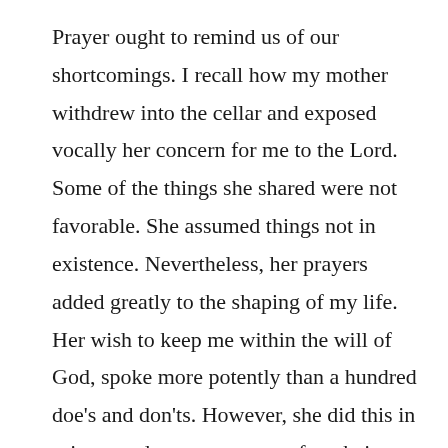Prayer ought to remind us of our shortcomings. I recall how my mother withdrew into the cellar and exposed vocally her concern for me to the Lord. Some of the things she shared were not favorable. She assumed things not in existence. Nevertheless, her prayers added greatly to the shaping of my life. Her wish to keep me within the will of God, spoke more potently than a hundred doe's and don'ts. However, she did this in private and was not aware of me being near by. This method of telling the Lord, what we think of others in our prayers in public leaves much to be desired. Unfortunately, we hear many such public disclosures in Churches. The Lord was not fond of such prayers. A seminary student was sent out to